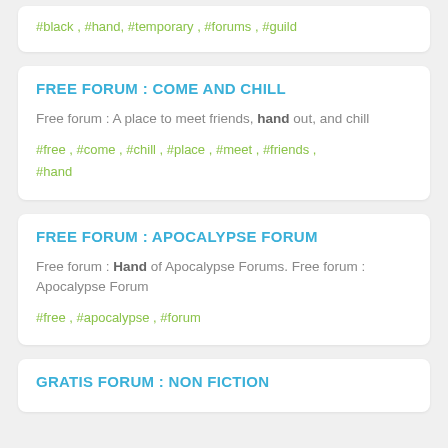#black , #hand, #temporary , #forums , #guild
FREE FORUM : COME AND CHILL
Free forum : A place to meet friends, hand out, and chill
#free , #come , #chill , #place , #meet , #friends , #hand
FREE FORUM : APOCALYPSE FORUM
Free forum : Hand of Apocalypse Forums. Free forum : Apocalypse Forum
#free , #apocalypse , #forum
GRATIS FORUM : NON FICTION